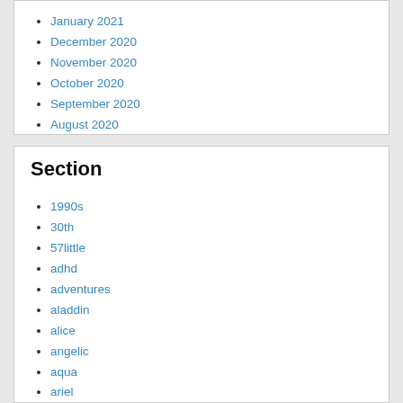January 2021
December 2020
November 2020
October 2020
September 2020
August 2020
Section
1990s
30th
57little
adhd
adventures
aladdin
alice
angelic
aqua
ariel
arieldeluxe
asmr
authentic